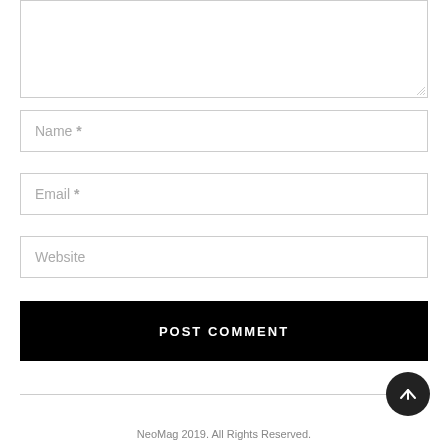[Figure (screenshot): Textarea input box (comment field) partially visible at top]
Name *
Email *
Website
POST COMMENT
NeoMag 2019. All Rights Reserved.